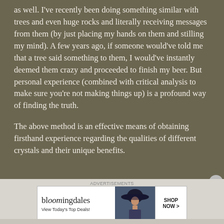as well. I've recently been doing something similar with trees and even huge rocks and literally receiving messages from them (by just placing my hands on them and stilling my mind). A few years ago, if someone would've told me that a tree said something to them, I would've instantly deemed them crazy and proceeded to finish my beer. But personal experience (combined with critical analysis to make sure you're not making things up) is a profound way of finding the truth.
The above method is an effective means of obtaining firsthand experience regarding the qualities of different crystals and their unique benefits.
[Figure (other): Bloomingdale's advertisement banner with logo, 'View Today's Top Deals!' tagline, woman in wide-brim hat, and 'SHOP NOW >' button]